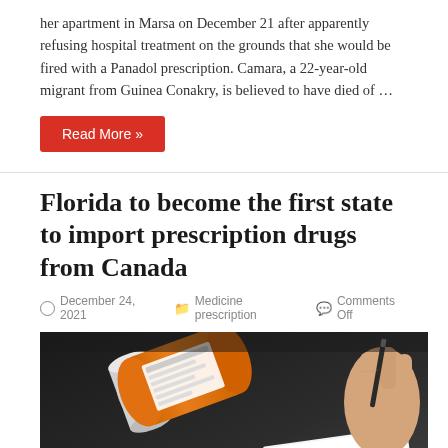her apartment in Marsa on December 21 after apparently refusing hospital treatment on the grounds that she would be fired with a Panadol prescription. Camara, a 22-year-old migrant from Guinea Conakry, is believed to have died of …
Read More »
Florida to become the first state to import prescription drugs from Canada
December 24, 2021   Medicine prescription   Comments Off
[Figure (photo): Photo of an orange prescription pill bottle lying on its side with white pills spilled out, and a hand holding a pen writing on a prescription pad, on a grey reflective surface with dark background.]